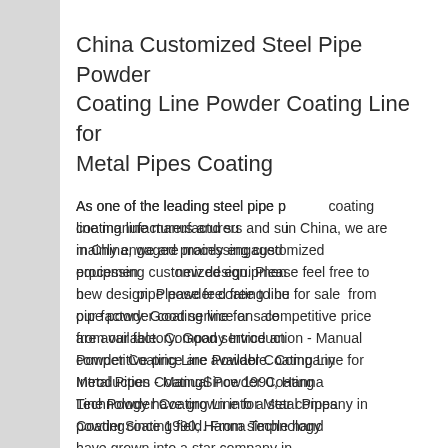China Customized Steel Pipe Powder Coating Line Powder Coating Line for Metal Pipes Coating
[Figure (photo): Customer support chat widget with '7X24 Online' header in navy/gold, photo of smiling woman with headset, 'Hello,may I help you?' message, and 'Get Latest Price' yellow button]
As one of the leading steel pipe powder coating line manufacturers and suppliers in China, we are mainly engaged in processing customized equipment with new design. Please feel free to buy steel pipe powder coating line for sale at competitive price from our factory. Good service and competitive price are available. Company Introduction - Manual Powder Coating Line Powder Coating Line for Metal Pipes CoatingSince 1990, Hanna Technology have grown into a star company in powder coating field. From simple hand